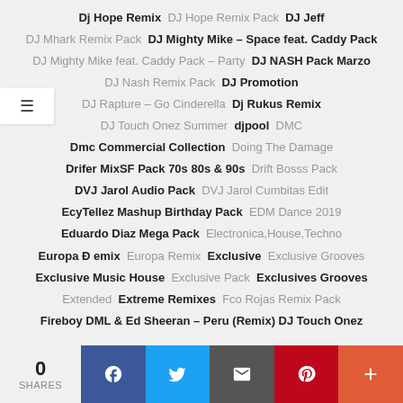Dj Hope Remix   DJ Hope Remix Pack   DJ Jeff
DJ Mhark Remix Pack   DJ Mighty Mike – Space feat. Caddy Pack
DJ Mighty Mike feat. Caddy Pack – Party   DJ NASH Pack Marzo
DJ Nash Remix Pack   DJ Promotion
DJ Rapture – Go Cinderella   Dj Rukus Remix
DJ Touch Onez Summer   djpool   DMC
Dmc Commercial Collection   Doing The Damage
Drifer MixSF Pack 70s 80s & 90s   Drift Bosss Pack
DVJ Jarol Audio Pack   DVJ Jarol Cumbitas Edit
EcyTellez Mashup Birthday Pack   EDM Dance 2019
Eduardo Diaz Mega Pack   Electronica,House,Techno
Europa Đ emix   Europa Remix   Exclusive   Exclusive Grooves
Exclusive Music House   Exclusive Pack   Exclusives Grooves
Extended   Extreme Remixes   Fco Rojas Remix Pack
Fireboy DML & Ed Sheeran – Peru (Remix) DJ Touch Onez
0 SHARES  [Facebook] [Twitter] [Email] [Pinterest] [More]